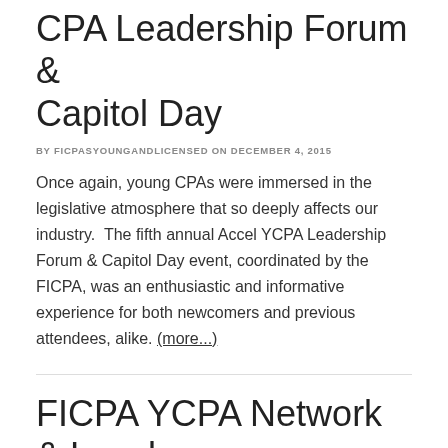Accel 2015: FICPA Young CPA Leadership Forum & Capitol Day
BY FICPASYOUNGANDLICENSED ON DECEMBER 4, 2015
Once again, young CPAs were immersed in the legislative atmosphere that so deeply affects our industry.  The fifth annual Accel YCPA Leadership Forum & Capitol Day event, coordinated by the FICPA, was an enthusiastic and informative experience for both newcomers and previous attendees, alike. (more...)
FICPA YCPA Network & Local YCPA Events